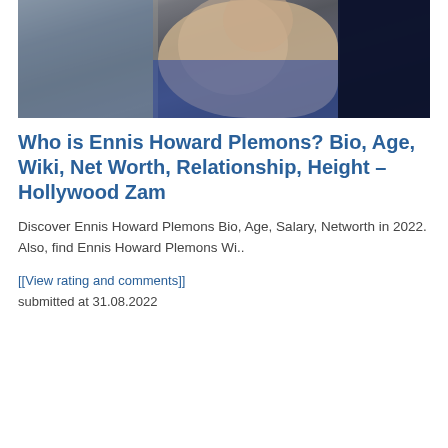[Figure (photo): Photo of adults holding a baby dressed in dark blue clothing, partial view cropped at top]
Who is Ennis Howard Plemons? Bio, Age, Wiki, Net Worth, Relationship, Height – Hollywood Zam
Discover Ennis Howard Plemons Bio, Age, Salary, Networth in 2022. Also, find Ennis Howard Plemons Wi..
[[View rating and comments]]
submitted at 31.08.2022